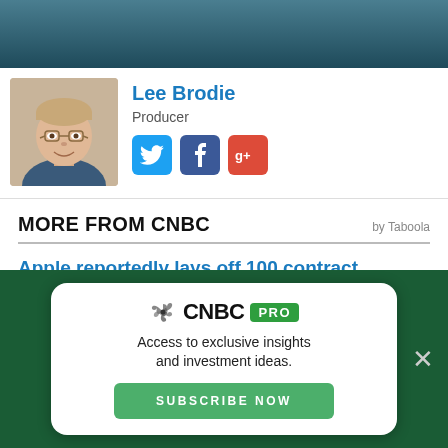[Figure (photo): Dark teal/blue gradient header bar at top of page]
[Figure (photo): Headshot photo of Lee Brodie, a smiling man with glasses and light hair]
Lee Brodie
Producer
[Figure (infographic): Social media icons: Twitter (blue bird), Facebook (blue f), Google+ (red g+)]
MORE FROM CNBC
by Taboola
Apple reportedly lays off 100 contract recruiters after committing to hiring on a 'deliberate basis'
[Figure (infographic): CNBC PRO subscription advertisement card on dark green background. Shows CNBC PRO logo, text 'Access to exclusive insights and investment ideas.' and a green 'SUBSCRIBE NOW' button.]